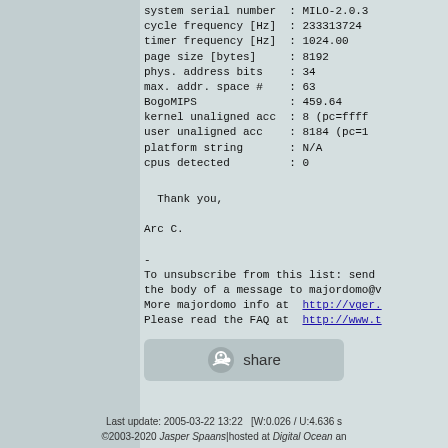system serial number  : MILO-2.0.3
cycle frequency [Hz] : 233313724
timer frequency [Hz] : 1024.00
page size [bytes]    : 8192
phys. address bits   : 34
max. addr. space #   : 63
BogoMIPS             : 459.64
kernel unaligned acc : 8 (pc=ffff
user unaligned acc   : 8184 (pc=1
platform string      : N/A
cpus detected        : 0
Thank you,

Arc C.

-
To unsubscribe from this list: send
the body of a message to majordomo@v
More majordomo info at  http://vger.
Please read the FAQ at  http://www.t
[Figure (other): Reddit share button]
Last update: 2005-03-22 13:22   [W:0.026 / U:4.636 s
©2003-2020 Jasper Spaans|hosted at Digital Ocean an